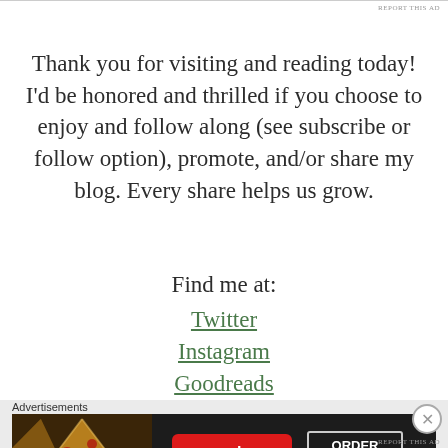REPORT THIS AD
Thank you for visiting and reading today! I'd be honored and thrilled if you choose to enjoy and follow along (see subscribe or follow option), promote, and/or share my blog. Every share helps us grow.
Find me at:
Twitter
Instagram
Goodreads
Advertisements
[Figure (other): Seamless food delivery advertisement banner showing pizza slices with Seamless logo and ORDER NOW button]
REPORT THIS AD